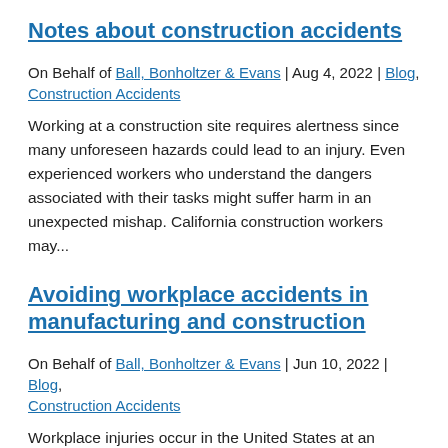Notes about construction accidents
On Behalf of Ball, Bonholtzer & Evans | Aug 4, 2022 | Blog, Construction Accidents
Working at a construction site requires alertness since many unforeseen hazards could lead to an injury. Even experienced workers who understand the dangers associated with their tasks might suffer harm in an unexpected mishap. California construction workers may...
Avoiding workplace accidents in manufacturing and construction
On Behalf of Ball, Bonholtzer & Evans | Jun 10, 2022 | Blog, Construction Accidents
Workplace injuries occur in the United States at an alarming rate that most people rarely consider. The typical California employee goes to work on a daily basis not expecting an